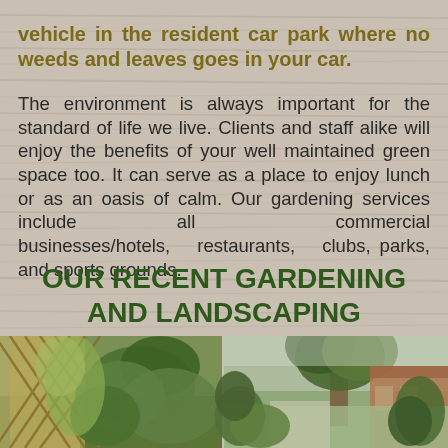vehicle in the resident car park where no weeds and leaves goes in your car.
The environment is always important for the standard of life we live. Clients and staff alike will enjoy the benefits of your well maintained green space too. It can serve as a place to enjoy lunch or as an oasis of calm. Our gardening services include all commercial businesses/hotels, restaurants, clubs, parks, and sports grounds.
OUR RECENT GARDENING AND LANDSCAPING PROJECTS IN LONDON
[Figure (photo): Two garden photos side by side: left shows a wooden trellis with green climbing plants and shrubs; right shows a garden path with large trees and a brick building in the background.]